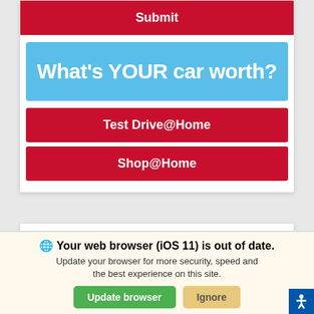[Figure (screenshot): Red Submit button at top of a car dealership web card]
[Figure (screenshot): Light blue banner with text: What's YOUR car worth?]
[Figure (screenshot): Red button: Test Drive@Home]
[Figure (screenshot): Red button: Shop@Home]
[Figure (screenshot): Car dealership ad strip showing Nissan logo, Orale speech bubble, man's face, Charlie Clark Nissan branding, 20 VIEWS badge, WILL SELL FAST label]
Your web browser (iOS 11) is out of date. Update your browser for more security, speed and the best experience on this site.
[Figure (screenshot): Green Update browser button and tan Ignore button in browser update notification bar]